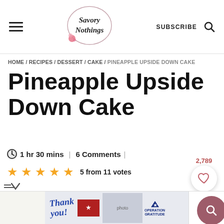Savory Nothings — SUBSCRIBE
HOME / RECIPES / DESSERT / CAKE / PINEAPPLE UPSIDE DOWN CAKE
Pineapple Upside Down Cake
1 hr 30 mins | 6 Comments |
5 from 11 votes — 2,789 saves
[Figure (screenshot): Email and Pinterest share buttons, search circle overlay]
[Figure (screenshot): Operation Gratitude thank you advertisement banner]